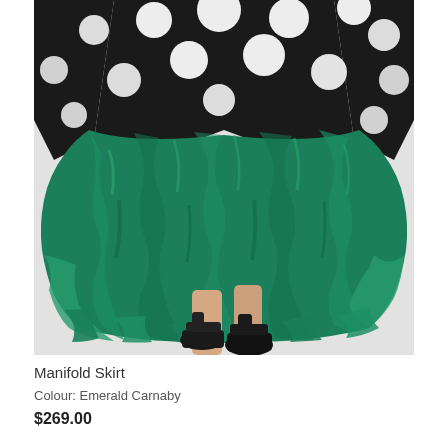[Figure (photo): Fashion product photo showing a woman wearing a voluminous emerald green crinkled/ruched skirt with a black and white polka dot top, styled with black platform sandals, photographed against a light grey background. Only the lower body is visible.]
Manifold Skirt
Colour: Emerald Carnaby
$269.00